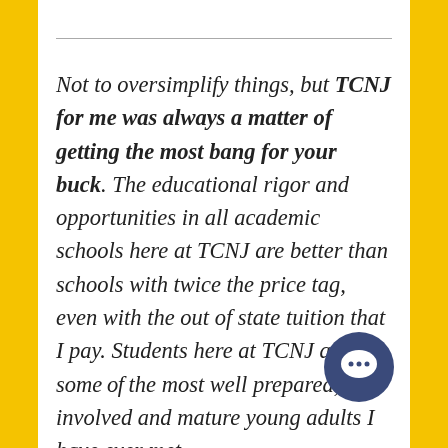Not to oversimplify things, but TCNJ for me was always a matter of getting the most bang for your buck. The educational rigor and opportunities in all academic schools here at TCNJ are better than schools with twice the price tag, even with the out of state tuition that I pay. Students here at TCNJ are some of the most well prepared, involved and mature young adults I have ever met.